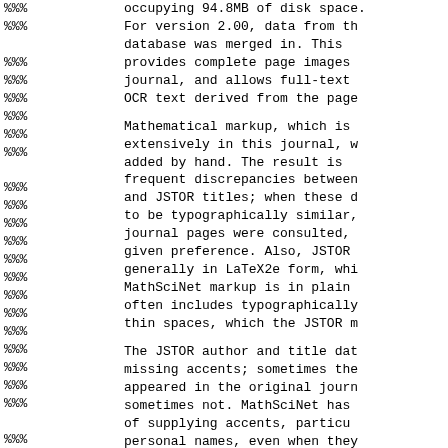%%% (left column repeated lines) | occupying 94.8MB of disk space. For version 2.00, data from the database was merged in. This provides complete page images journal, and allows full-text OCR text derived from the page. Mathematical markup, which is extensively in this journal, w added by hand. The result is frequent discrepancies between and JSTOR titles; when these d to be typographically similar, journal pages were consulted, given preference. Also, JSTOR generally in LaTeX2e form, whi MathSciNet markup is in plain often includes typographically thin spaces, which the JSTOR m. The JSTOR author and title dat missing accents; sometimes the appeared in the original journ sometimes not. MathSciNet has of supplying accents, particu personal names, even when they from the original publication loss of accents in the latter reflected technological limita